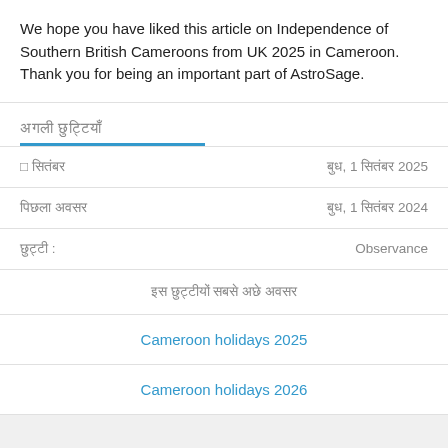We hope you have liked this article on Independence of Southern British Cameroons from UK 2025 in Cameroon. Thank you for being an important part of AstroSage.
अगली छुट्टियाँ
| □ सितंबर | बुध, 1 सितंबर 2025 |
| पिछला अवसर | बुध, 1 सितंबर 2024 |
| छुट्टी : | Observance |
| इस छुट्टीयों सबसे अछे अवसर |  |
| Cameroon holidays 2025 |  |
| Cameroon holidays 2026 |  |